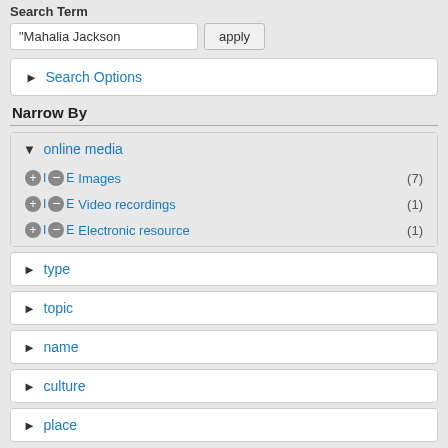Search Term
"Mahalia Jackson
Search Options
Narrow By
online media
Images (7)
Video recordings (1)
Electronic resource (1)
type
topic
name
culture
place